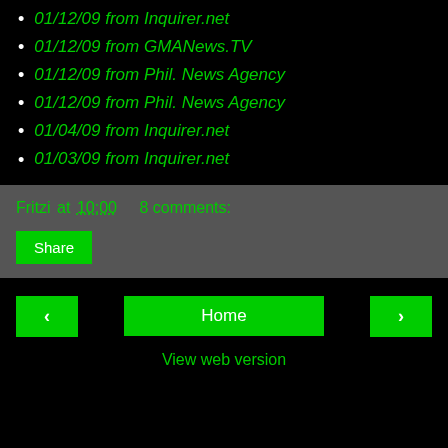01/12/09 from Inquirer.net
01/12/09 from GMANews.TV
01/12/09 from Phil. News Agency
01/12/09 from Phil. News Agency
01/04/09 from Inquirer.net
01/03/09 from Inquirer.net
Fritzi at 10:00    8 comments:
Share
Home
View web version